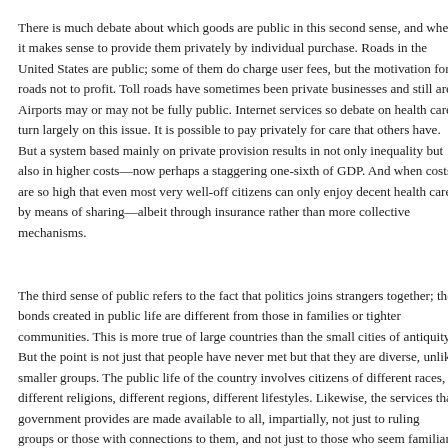There is much debate about which goods are public in this second sense, and when it makes sense to provide them privately by individual purchase. Roads in the United States are public; some of them do charge user fees, but the motivation for roads not to profit. Toll roads have sometimes been private businesses and in some places still are. Airports may or may not be fully public. Internet services so debate about health care turn largely on this issue. It is possible to pay privately for care that others have. But a system based mainly on private provision results not only in inequality but also in higher costs—now perhaps a staggering one-sixth of GDP. And when costs are so high that even most very well-off citizens can only enjoy decent health care by means of sharing—albeit through insurance rather than more collective mechanisms.
The third sense of public refers to the fact that politics joins strangers together; the bonds created in public life are different from those in families or tighter communities. This is more true of large countries than the small cities of antiquity. But the point is not just that people have never met but that they are diverse, unlike smaller groups. The public life of the country involves citizens of different races, different religions, different regions, different lifestyles. Likewise, the services that government provides are made available to all, impartially, not just to ruling groups or those with connections to them, and not just to those who seem familiar or similar or